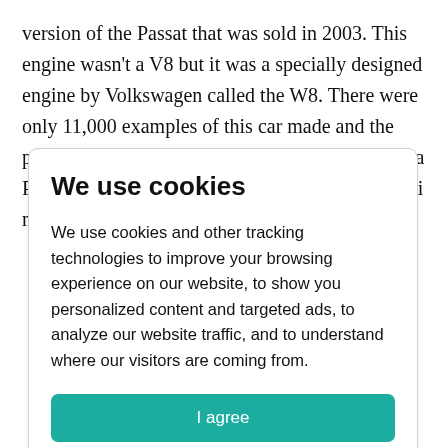version of the Passat that was sold in 2003. This engine wasn't a V8 but it was a specially designed engine by Volkswagen called the W8. There were only 11,000 examples of this car made and the performance is about as good as you'll get out of a Passat. The power was eerily similar to most Audi models which helped the car
We use cookies
We use cookies and other tracking technologies to improve your browsing experience on our website, to show you personalized content and targeted ads, to analyze our website traffic, and to understand where our visitors are coming from.
I agree
Change my preferences